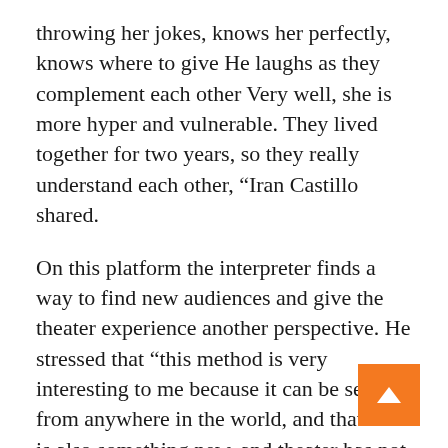throwing her jokes, knows her perfectly, knows where to give He laughs as they complement each other Very well, she is more hyper and vulnerable. They lived together for two years, so they really understand each other, “Iran Castillo shared.
On this platform the interpreter finds a way to find new audiences and give the theater experience another perspective. He stressed that “this method is very interesting to me because it can be seen from anywhere in the world, and that this is also something new, and theater has not achieved this before, and it is wonderful that any country can see plays from different countries.”